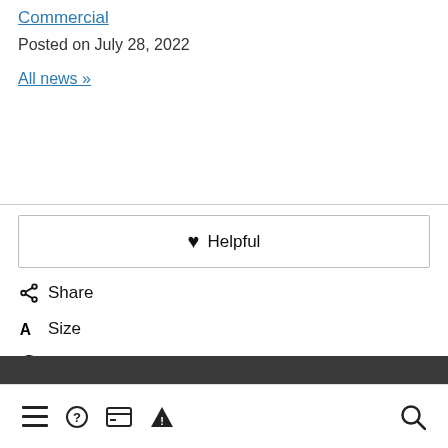Commercial
Posted on July 28, 2022
All news »
♥ Helpful
Share
Size
Translate
Navigation bar with menu, help, card, warning, and search icons